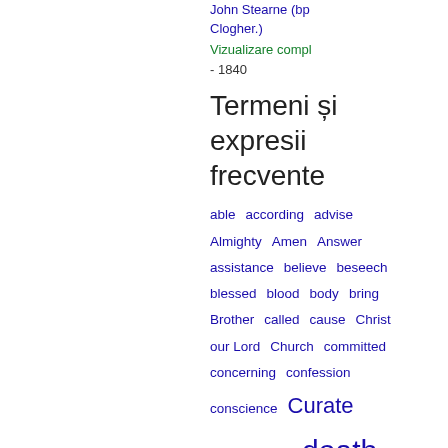John Stearne (bpClogher.)
Vizualizare compl
- 1840
Termeni și expresii frecvente
able  according  advise
Almighty  Amen  Answer
assistance  believe  beseech
blessed  blood  body  bring
Brother  called  cause  Christ
our Lord  Church  committed
concerning  confession
conscience  Curate
danger  dead  death
Decalogue  deliver
depart  desire  discourse